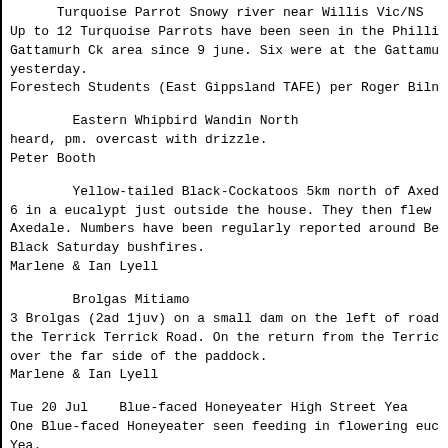Turquoise Parrot Snowy river near Willis Vic/NS
Up to 12 Turquoise Parrots have been seen in the Philli
Gattamurh Ck area since 9 june. Six were at the Gattamu
yesterday.
Forestech Students (East Gippsland TAFE) per Roger Biln
Eastern Whipbird Wandin North
heard, pm. overcast with drizzle.
Peter Booth
Yellow-tailed Black-Cockatoos 5km north of Axed
6 in a eucalypt just outside the house. They then flew
Axedale. Numbers have been regularly reported around Be
Black Saturday bushfires.
Marlene & Ian Lyell
Brolgas Mitiamo
3 Brolgas (2ad 1juv) on a small dam on the left of road
the Terrick Terrick Road. On the return from the Terric
over the far side of the paddock.
Marlene & Ian Lyell
Tue 20 Jul    Blue-faced Honeyeater High Street Yea
One Blue-faced Honeyeater seen feeding in flowering euc
Yea.
Chris Cobern